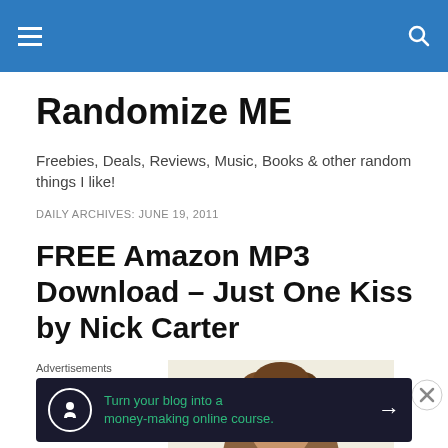Randomize ME — site header bar with hamburger menu and search icon
Randomize ME
Freebies, Deals, Reviews, Music, Books & other random things I like!
DAILY ARCHIVES: JUNE 19, 2011
FREE Amazon MP3 Download – Just One Kiss by Nick Carter
[Figure (photo): Partial photo of a person's head with brown hair against a light background]
Advertisements
[Figure (infographic): Dark advertisement banner: Turn your blog into a money-making online course. with arrow button]